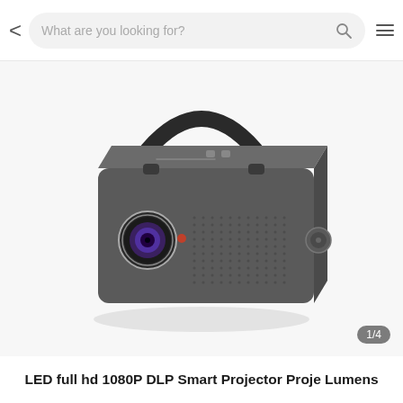What are you looking for?
[Figure (photo): A dark grey portable LED DLP smart projector with a carry handle on top. The front face shows a circular lens on the left, a small round button, and a speaker grille with dot pattern. A volume/focus knob is visible on the right side. The projector sits on a white background.]
1/4
LED full hd 1080P DLP Smart Projector Proje Lumens